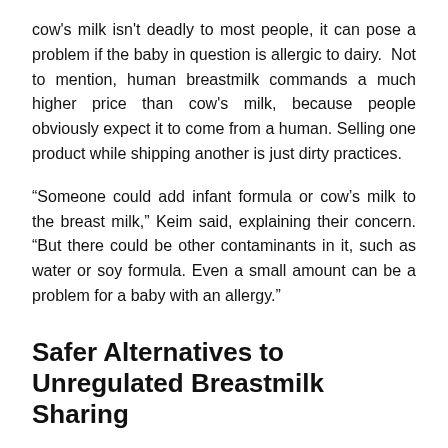cow's milk isn't deadly to most people, it can pose a problem if the baby in question is allergic to dairy.  Not to mention, human breastmilk commands a much higher price than cow's milk, because people obviously expect it to come from a human. Selling one product while shipping another is just dirty practices.
“Someone could add infant formula or cow’s milk to the breast milk,” Keim said, explaining their concern. “But there could be other contaminants in it, such as water or soy formula. Even a small amount can be a problem for a baby with an allergy.”
Safer Alternatives to Unregulated Breastmilk Sharing
Okay, so buying the product or accepting an anonymous donation is out.....but surely, there'd be no such foul play when receiving